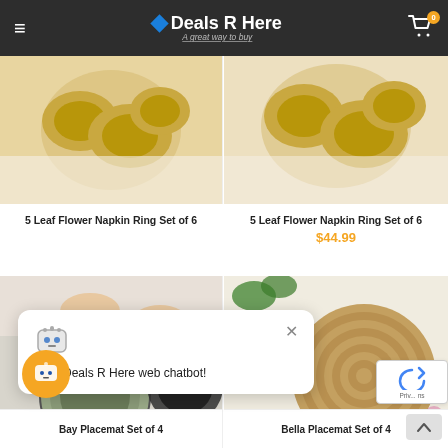Deals R Here – A great way to buy
[Figure (photo): Gold 5 Leaf Flower Napkin Ring product photo, left]
[Figure (photo): Gold 5 Leaf Flower Napkin Ring product photo, right]
5 Leaf Flower Napkin Ring Set of 6
5 Leaf Flower Napkin Ring Set of 6
$44.99
[Figure (photo): Bay Placemat Set of 4 product photo showing woven circular placemats]
[Figure (photo): Bella Placemat Set of 4 product photo showing round woven natural placemat]
[Figure (screenshot): Chatbot popup: robot icon, close button, text 'I'm a Deals R Here web chatbot!']
Bay Placemat Set of 4
Bella Placemat Set of 4